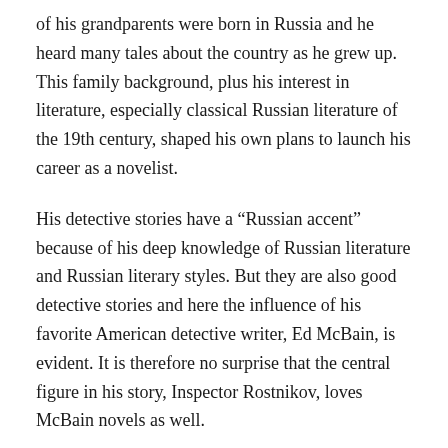of his grandparents were born in Russia and he heard many tales about the country as he grew up. This family background, plus his interest in literature, especially classical Russian literature of the 19th century, shaped his own plans to launch his career as a novelist.
His detective stories have a “Russian accent” because of his deep knowledge of Russian literature and Russian literary styles. But they are also good detective stories and here the influence of his favorite American detective writer, Ed McBain, is evident. It is therefore no surprise that the central figure in his story, Inspector Rostnikov, loves McBain novels as well.
Inspector Rosnikov works in Moscow and, while some of the novels take him to other locations, most of the books deal with life in the Russian capital city. When I began to read these books, I was especially drawn to these stories because many of the places he describes are places I know. For example, when writing about